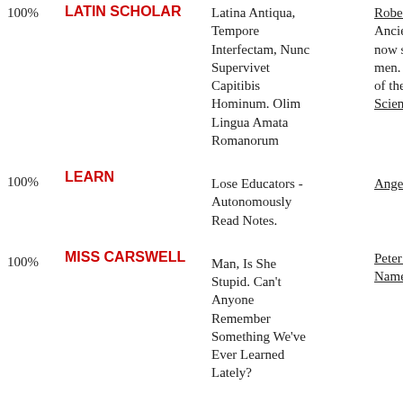| Percentage | Title | Description | Author/Link |
| --- | --- | --- | --- |
| 100% | LATIN SCHOLAR | Latina Antiqua, Tempore Interfectam, Nunc Supervivet Capitibis Hominum. Olim Lingua Amata Romanorum | Robert And... Ancient lat... now surviv... men. Once of the Rom... Science:Li... |
| 100% | LEARN | Lose Educators - Autonomously Read Notes. | Angela Bre... |
| 100% | MISS CARSWELL | Man, Is She Stupid. Can't Anyone Remember Something We've Ever Learned Lately? | Peter & Ch... Names |
| 100% | MODULE | Method Of Dividing Up Lessons, Educationally | Tony McCo... |